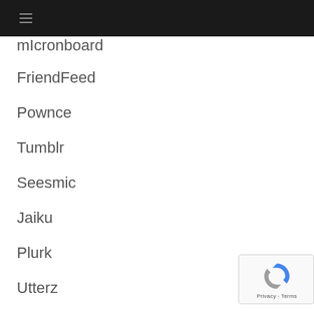≡
mIcronoard
FriendFeed
Pownce
Tumblr
Seesmic
Jaiku
Plurk
Utterz
Pinger
[Figure (logo): reCAPTCHA badge with blue/grey arrow logo and 'Privacy - Terms' text]